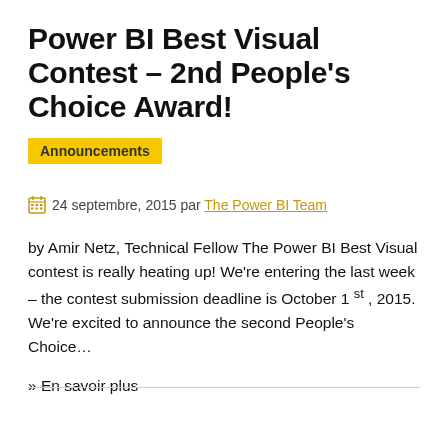Power BI Best Visual Contest – 2nd People's Choice Award!
Announcements
24 septembre, 2015 par The Power BI Team
by Amir Netz, Technical Fellow The Power BI Best Visual contest is really heating up! We're entering the last week – the contest submission deadline is October 1 st , 2015. We're excited to announce the second People's Choice…
» En savoir plus